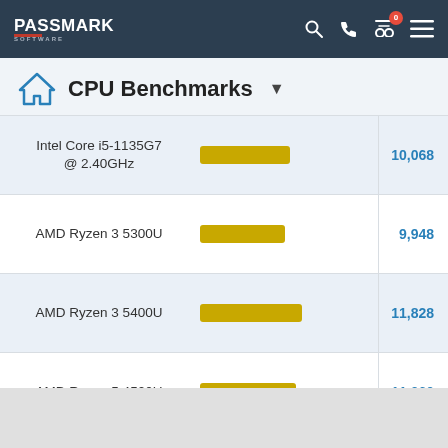PassMark Software — CPU Benchmarks
CPU Benchmarks
| CPU | Bar | Score |
| --- | --- | --- |
| Intel Core i5-1135G7 @ 2.40GHz |  | 10,068 |
| AMD Ryzen 3 5300U |  | 9,948 |
| AMD Ryzen 3 5400U |  | 11,828 |
| AMD Ryzen 5 4500U |  | 11,060 |
| AMD Ryzen 3 PRO |  | 10,110 |